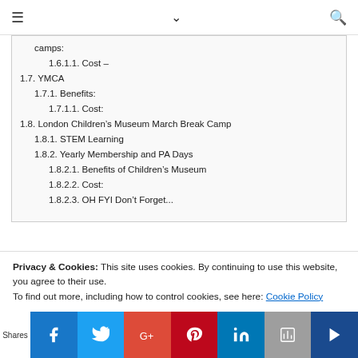≡ ∨ 🔍
camps:
1.6.1.1. Cost –
1.7. YMCA
1.7.1. Benefits:
1.7.1.1. Cost:
1.8. London Children's Museum March Break Camp
1.8.1. STEM Learning
1.8.2. Yearly Membership and PA Days
1.8.2.1. Benefits of Children's Museum
1.8.2.2. Cost:
1.8.2.3. OH FYI Don't Forget...
Privacy & Cookies: This site uses cookies. By continuing to use this website, you agree to their use.
To find out more, including how to control cookies, see here: Cookie Policy
Shares | Facebook | Twitter | Google+ | Pinterest | LinkedIn | Print | Crown